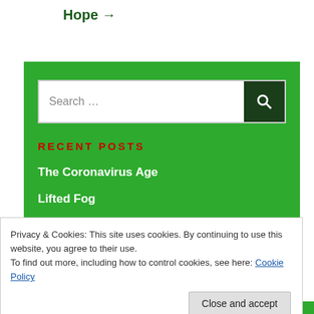Hope →
[Figure (screenshot): Green sidebar panel with search bar, Recent Posts section header in red, and two post links in white bold text on green background]
RECENT POSTS
The Coronavirus Age
Lifted Fog
Privacy & Cookies: This site uses cookies. By continuing to use this website, you agree to their use.
To find out more, including how to control cookies, see here: Cookie Policy
Close and accept